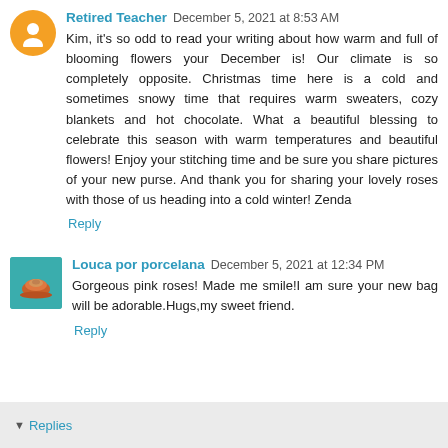[Figure (illustration): Orange circle blogger avatar icon with white figure silhouette]
Retired Teacher  December 5, 2021 at 8:53 AM
Kim, it's so odd to read your writing about how warm and full of blooming flowers your December is! Our climate is so completely opposite. Christmas time here is a cold and sometimes snowy time that requires warm sweaters, cozy blankets and hot chocolate. What a beautiful blessing to celebrate this season with warm temperatures and beautiful flowers! Enjoy your stitching time and be sure you share pictures of your new purse. And thank you for sharing your lovely roses with those of us heading into a cold winter! Zenda
Reply
[Figure (photo): Small square photo showing a teacup and saucer on a teal/turquoise background]
Louca por porcelana  December 5, 2021 at 12:34 PM
Gorgeous pink roses! Made me smile!I am sure your new bag will be adorable.Hugs,my sweet friend.
Reply
Replies